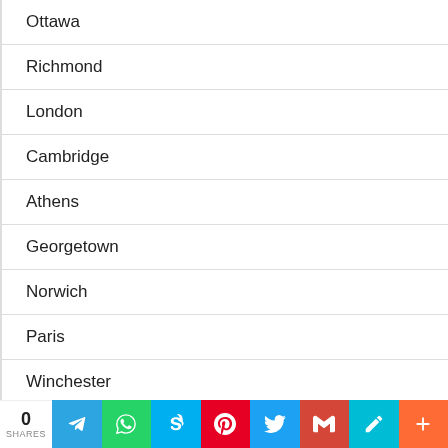Ottawa
Richmond
London
Cambridge
Athens
Georgetown
Norwich
Paris
Winchester
Clinton
0 SHARES